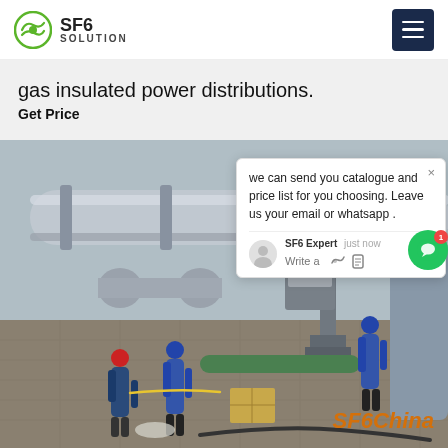SF6 SOLUTION
gas insulated power distributions.
Get Price
[Figure (photo): Workers in blue coveralls and hard hats working on large SF6 gas insulated power distribution equipment at an outdoor industrial substation. Workers are handling pipes, cables, and flanged equipment. Cardboard boxes are visible on the ground.]
we can send you catalogue and price list for you choosing. Leave us your email or whatsapp .
SF6 Expert   just now
Write a
SF6China